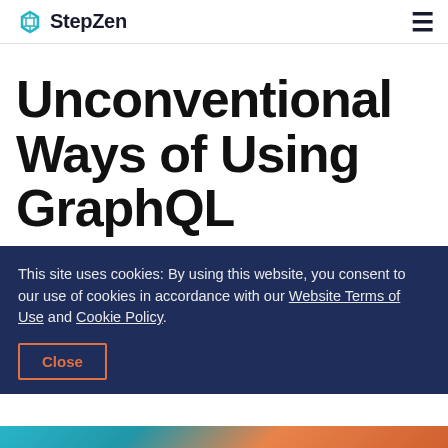StepZen
Unconventional Ways of Using GraphQL
This site uses cookies: By using this website, you consent to our use of cookies in accordance with our Website Terms of Use and Cookie Policy.
Close